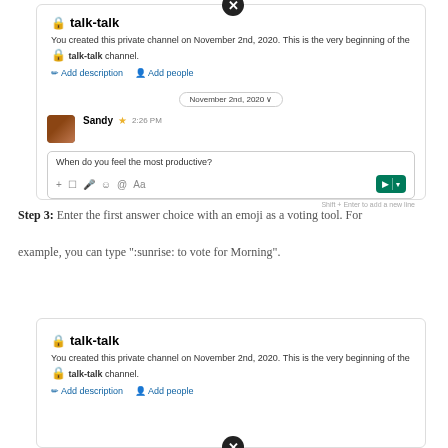[Figure (screenshot): Slack channel screenshot showing talk-talk private channel header, date divider November 2nd 2020, Sandy's message 'When do you feel the most productive?' with compose box and toolbar, and a close X button at top]
Step 3: Enter the first answer choice with an emoji as a voting tool. For example, you can type ':sunrise: to vote for Morning'.
[Figure (screenshot): Slack channel screenshot showing talk-talk private channel header and description with Add description and Add people links, and a close X button at bottom]